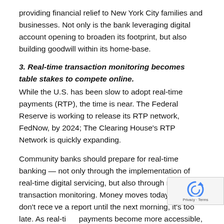providing financial relief to New York City families and businesses. Not only is the bank leveraging digital account opening to broaden its footprint, but also building goodwill within its home-base.
3. Real-time transaction monitoring becomes table stakes to compete online.
While the U.S. has been slow to adopt real-time payments (RTP), the time is near. The Federal Reserve is working to release its RTP network, FedNow, by 2024; The Clearing House's RTP Network is quickly expanding.
Community banks should prepare for real-time banking — not only through the implementation of real-time digital servicing, but also through real-time transaction monitoring. Money moves today; if banks don't receive a report until the next morning, it's too late. As real-time payments become more accessible, real-time transaction monitoring will be table stakes to compete for customers.